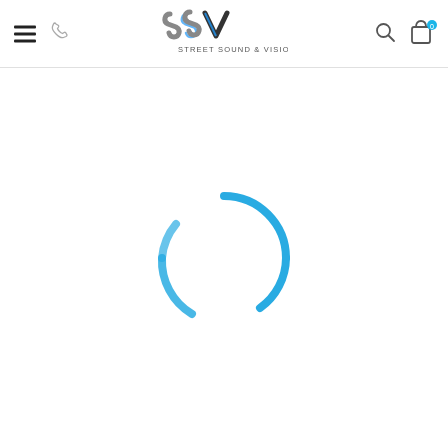[Figure (logo): Street Sound & Vision (SSV) logo with grey and blue stylized letters and tagline 'STREET SOUND & VISION']
[Figure (other): Blue spinning loading indicator (circular arc spinner) centered on the page below the header]